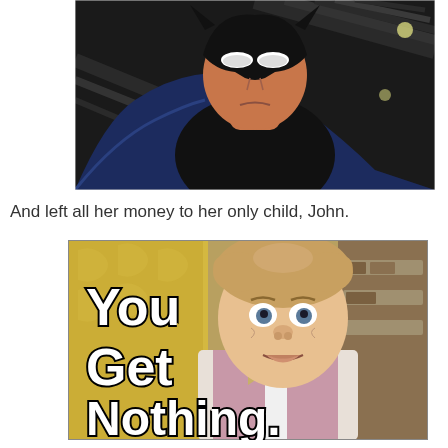[Figure (photo): Animated Batman (from Batman: The Animated Series) looking stern, close-up of face and upper body against a dark industrial background with steel beams]
And left all her money to her only child, John.
[Figure (photo): Meme image of Willy Wonka (Gene Wilder) with bold white text outlined in black reading 'You Get Nothing.' overlaid on the image]